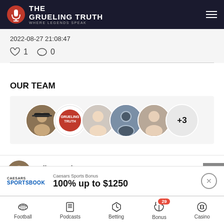The Grueling Truth — Where Legends Speak
2022-08-27 21:08:47
♡ 1   ○ 0
OUR TEAM
[Figure (photo): Five circular avatar photos of team members overlapping, followed by a +3 indicator]
Mike Goodpaster  in  𝕏  f
Chief Editor
Caesars Sports Bonus
100% up to $1250
Football  Podcasts  Betting  Bonus 29  Casino